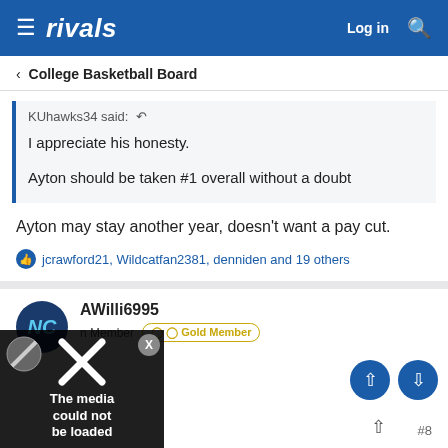rivals — Log in
College Basketball Board
KUhawks34 said:  I appreciate his honesty.

Ayton should be taken #1 overall without a doubt
Ayton may stay another year, doesn't want a pay cut.
jcrawford21, Wildcatfan2381, denniden and 19 others
AWilli6995
Veteran Member  Gold Member
[Figure (screenshot): Media could not be loaded overlay with X logo and close button]